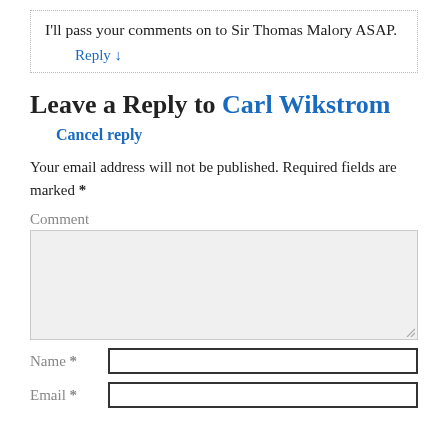I'll pass your comments on to Sir Thomas Malory ASAP.
Reply ↓
Leave a Reply to Carl Wikstrom
Cancel reply
Your email address will not be published. Required fields are marked *
Comment
Name *
Email *